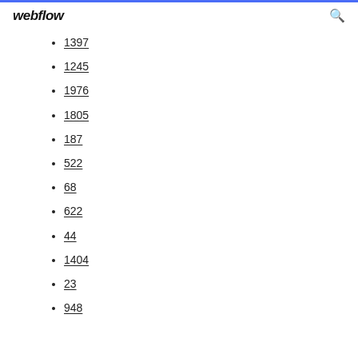webflow
1397
1245
1976
1805
187
522
68
622
44
1404
23
948